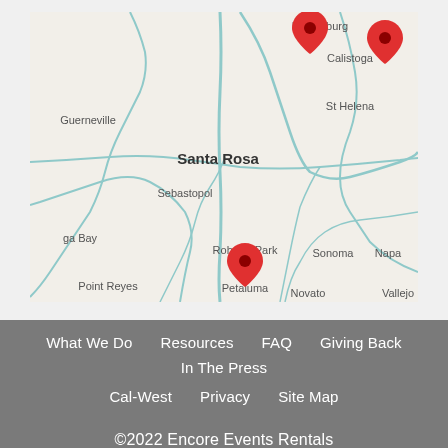[Figure (map): Google Maps view of Sonoma/Napa County area in California showing three red location pin markers near Healdsburg, Calistoga/St Helena, and Petaluma/Rohnert Park. Map includes city labels: Healdsburg, Calistoga, St Helena, Guerneville, Santa Rosa, Sebastopol, Rohnert Park, Sonoma, Napa, Bodega Bay, Petaluma, Point Reyes, Novato, Vallejo.]
What We Do   Resources   FAQ   Giving Back   In The Press   Cal-West   Privacy   Site Map   ©2022 Encore Events Rentals   site by Twelve Legs Marketing